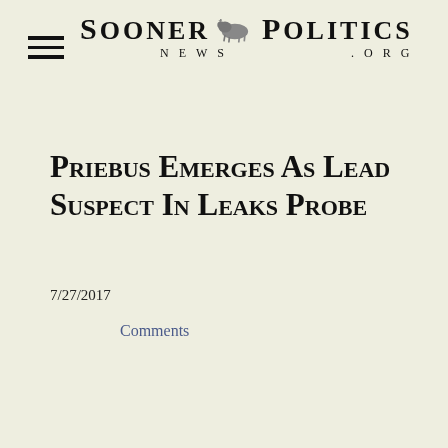SOONER POLITICS NEWS .ORG
Priebus Emerges As Lead Suspect In Leaks Probe
7/27/2017
Comments